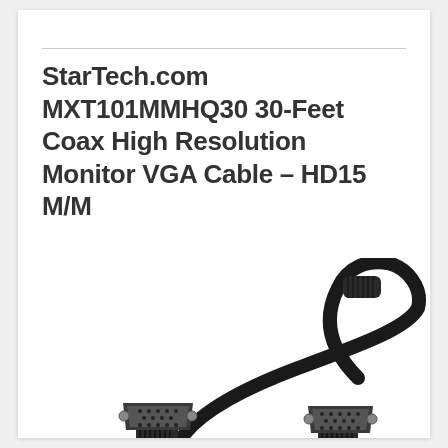StarTech.com MXT101MMHQ30 30-Feet Coax High Resolution Monitor VGA Cable - HD15 M/M
[Figure (photo): Black VGA HD15 male-to-male cable with ferrite cores on both ends, coiled against a white background. Two connectors visible: one fully shown at bottom-left, one partially visible at bottom-right.]